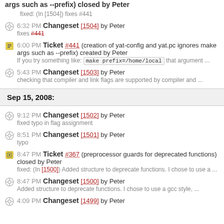args such as --prefix) closed by Peter
  fixed: (In [1504]) fixes #441
6:32 PM Changeset [1504] by Peter
  fixes #441
6:00 PM Ticket #441 (creation of yat-config and yat.pc ignores make args such as --prefix) created by Peter
  If you try something like: make prefix=/home/local that argument ...
5:43 PM Changeset [1503] by Peter
  checking that compiler and link flags are supported by compiler and ...
Sep 15, 2008:
9:12 PM Changeset [1502] by Peter
  fixed typo in flag assignment
8:51 PM Changeset [1501] by Peter
  typo
8:47 PM Ticket #367 (preprocessor guards for deprecated functions) closed by Peter
  fixed: (In [1500]) Added structure to deprecate functions. I chose to use a ...
8:47 PM Changeset [1500] by Peter
  Added structure to deprecate functions. I chose to use a gcc style, ...
4:09 PM Changeset [1499] by Peter